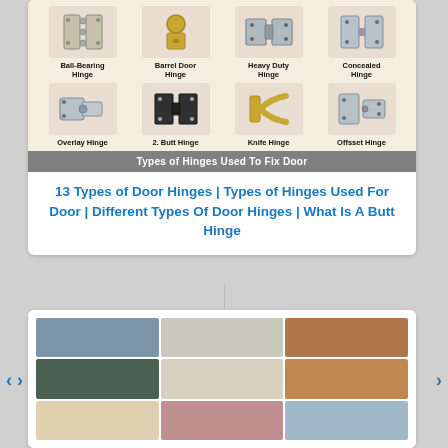[Figure (infographic): Infographic showing 8 types of door hinges arranged in a 2-row grid with labels: Ball-Bearing Hinge, Barrel Door Hinge, Heavy Duty Hinge, Concealed Hinge (top row); Overlay Hinge, 2. Butt Hinge, Knife Hinge, Offsset Hinge (bottom row). Gray banner at bottom reads 'Types of Hinges Used To Fix Door'.]
13 Types of Door Hinges | Types of Hinges Used For Door | Different Types Of Door Hinges | What Is A Butt Hinge
[Figure (photo): Collage of sofa/couch images in a 3x3 grid showing various styles of sofas including sectionals, loveseats, and couches in different colors and materials.]